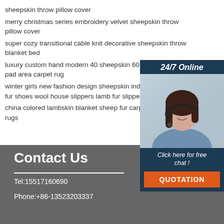sheepskin throw pillow cover
merry christmas series embroidery velvet sheepskin throw pillow cover
super cozy transitional cable knit decorative sheepskin throw blanket bed
luxury custom hand modern 40 sheepskin 60 linen pad area carpet rug
winter girls new fashion design sheepskin indoor s fur shoes wool house slippers lamb fur slippers
china colored lambskin blanket sheep fur carpet dy rugs
[Figure (photo): Customer service representative with headset, smiling. Overlaid with '24/7 Online' header, 'Click here for free chat!' text, and orange QUOTATION button on dark navy sidebar panel.]
Contact Us
Tel:15517160690
Phone:+86-13523203337
[Figure (logo): TOP logo with orange dot/triangle motif above the word TOP in orange on grey background]